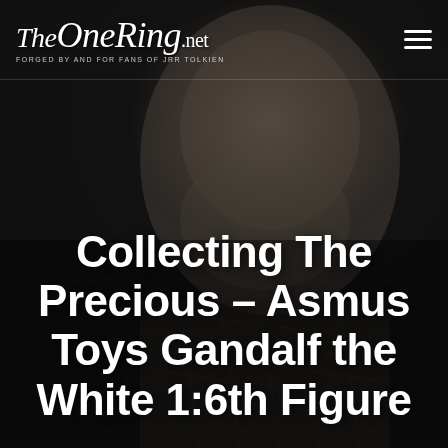[Figure (photo): Black and white close-up photo of a Gandalf the White figurine or statue, showing the bearded face and detailed robe/armor texture. Dark dramatic background.]
TheOneRing.net — FORGED BY AND FOR FANS OF JRR TOLKIEN
Collecting The Precious – Asmus Toys Gandalf the White 1:6th Figure